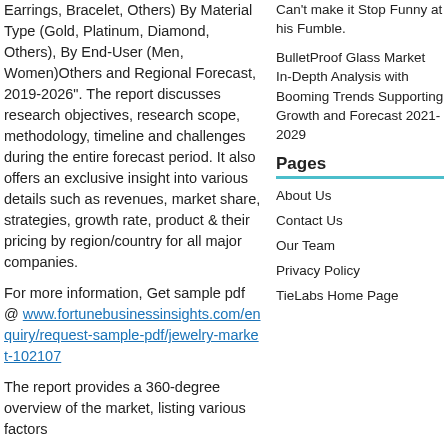Earrings, Bracelet, Others) By Material Type (Gold, Platinum, Diamond, Others), By End-User (Men, Women)Others and Regional Forecast, 2019-2026". The report discusses research objectives, research scope, methodology, timeline and challenges during the entire forecast period. It also offers an exclusive insight into various details such as revenues, market share, strategies, growth rate, product & their pricing by region/country for all major companies.
Can't make it Stop Funny at his Fumble.
BulletProof Glass Market In-Depth Analysis with Booming Trends Supporting Growth and Forecast 2021-2029
For more information, Get sample pdf @ www.fortunebusinessinsights.com/enquiry/request-sample-pdf/jewelry-market-102107
Pages
About Us
Contact Us
Our Team
Privacy Policy
TieLabs Home Page
The report provides a 360-degree overview of the market, listing various factors